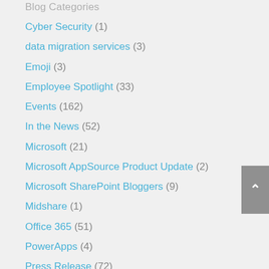Blog Categories
Cyber Security (1)
data migration services (3)
Emoji (3)
Employee Spotlight (33)
Events (162)
In the News (52)
Microsoft (21)
Microsoft AppSource Product Update (2)
Microsoft SharePoint Bloggers (9)
Midshare (1)
Office 365 (51)
PowerApps (4)
Press Release (72)
Product Updates (119)